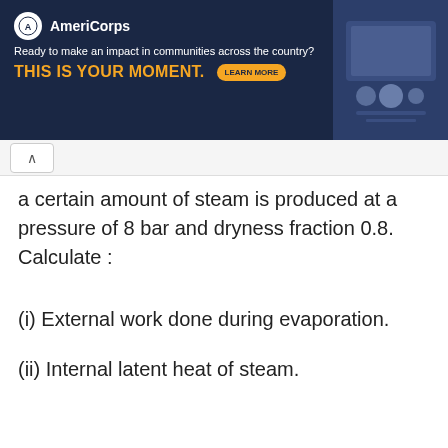[Figure (illustration): AmeriCorps advertisement banner with dark navy background, logo, tagline 'Ready to make an impact in communities across the country?', 'THIS IS YOUR MOMENT.' in orange, LEARN MORE button, and image of people on right]
a certain amount of steam is produced at a pressure of 8 bar and dryness fraction 0.8. Calculate :
(i) External work done during evaporation.
(ii) Internal latent heat of steam.
Click here for answer.
[Figure (illustration): TOPTOON+ advertisement banner with cartoon character illustration of a girl with brown hair]